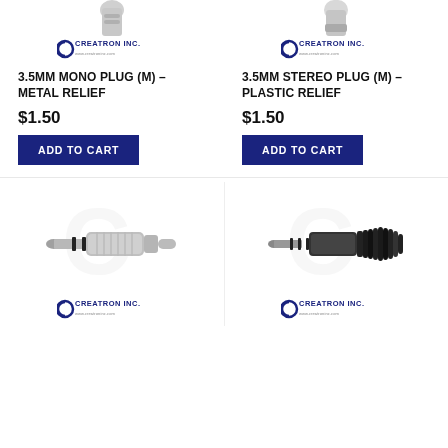[Figure (photo): Top partial view of a 3.5mm mono plug with metal relief, cropped at top]
[Figure (logo): Creatron Inc. logo - left column top product]
3.5MM MONO PLUG (M) – METAL RELIEF
$1.50
ADD TO CART
[Figure (photo): Top partial view of a 3.5mm stereo plug with plastic relief, cropped at top]
[Figure (logo): Creatron Inc. logo - right column top product]
3.5MM STEREO PLUG (M) – PLASTIC RELIEF
$1.50
ADD TO CART
[Figure (photo): 3.5mm stereo plug with metal body and strain relief, silver colored]
[Figure (logo): Creatron Inc. logo - left column bottom product]
[Figure (photo): 3.5mm TRRS plug with black plastic strain relief]
[Figure (logo): Creatron Inc. logo - right column bottom product]